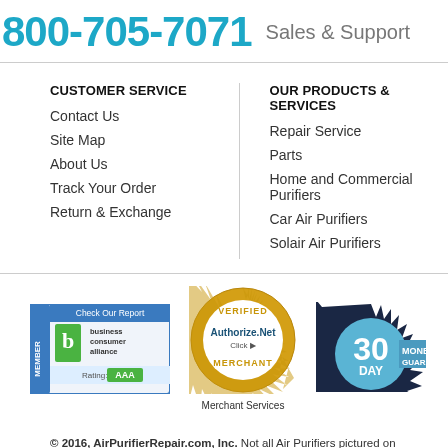800-705-7071 Sales & Support
CUSTOMER SERVICE
Contact Us
Site Map
About Us
Track Your Order
Return & Exchange
OUR PRODUCTS & SERVICES
Repair Service
Parts
Home and Commercial Purifiers
Car Air Purifiers
Solair Air Purifiers
[Figure (logo): Business Consumer Alliance Member badge with AAA rating]
[Figure (logo): Authorize.Net Verified Merchant badge]
[Figure (logo): 30 Day Money Back Guarantee badge]
© 2016, AirPurifierRepair.com, Inc. Not all Air Purifiers pictured on this website are capable of repairing. Not all air purifiers displayed on this web site should be construed as respective owners.
AirPurifierRepa